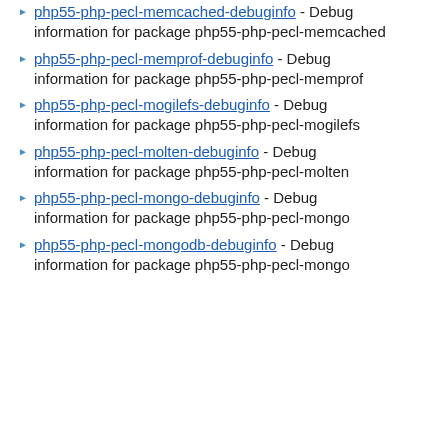php55-php-pecl-memcached-debuginfo - Debug information for package php55-php-pecl-memcached
php55-php-pecl-memprof-debuginfo - Debug information for package php55-php-pecl-memprof
php55-php-pecl-mogilefs-debuginfo - Debug information for package php55-php-pecl-mogilefs
php55-php-pecl-molten-debuginfo - Debug information for package php55-php-pecl-pecl-molten
php55-php-pecl-mongo-debuginfo - Debug information for package php55-php-pecl-mongo
php55-php-pecl-mongodb-debuginfo - Debug information for package php55-php-